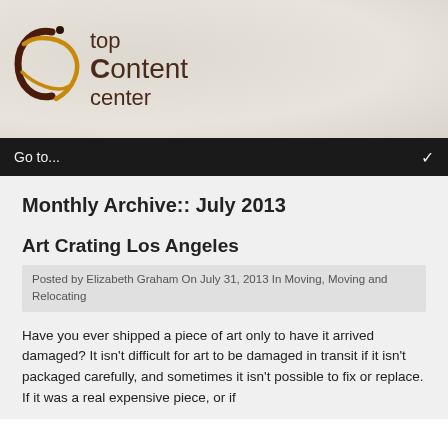[Figure (logo): Top Content Center logo with stylized figure and text reading 'top Content center']
Go to...
Monthly Archive:: July 2013
Art Crating Los Angeles
Posted by Elizabeth Graham On July 31, 2013 In Moving, Moving and Relocating
Have you ever shipped a piece of art only to have it arrived damaged? It isn't difficult for art to be damaged in transit if it isn't packaged carefully, and sometimes it isn't possible to fix or replace. If it was a real expensive piece, or if...